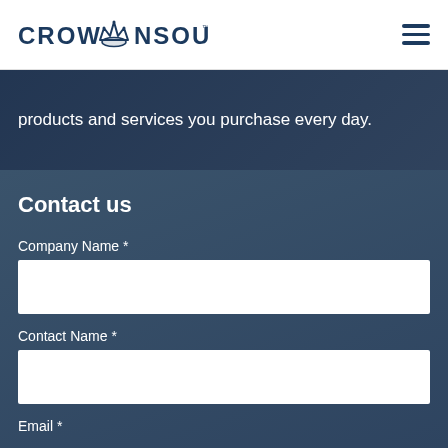[Figure (logo): CrownSource logo with crown icon between CROW and NSOURCE text, dark navy color]
products and services you purchase every day.
Contact us
Company Name *
Contact Name *
Email *